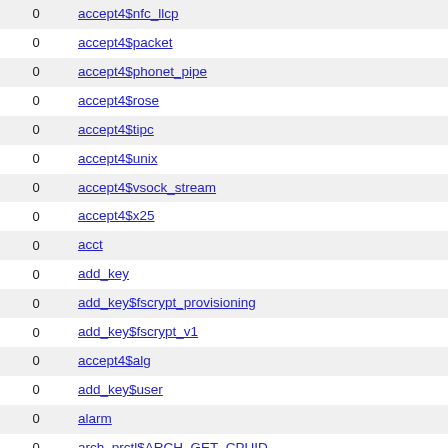|  |  |
| --- | --- |
| 0 | accept4$nfc_llcp |
| 0 | accept4$packet |
| 0 | accept4$phonet_pipe |
| 0 | accept4$rose |
| 0 | accept4$tipc |
| 0 | accept4$unix |
| 0 | accept4$vsock_stream |
| 0 | accept4$x25 |
| 0 | acct |
| 0 | add_key |
| 0 | add_key$fscrypt_provisioning |
| 0 | add_key$fscrypt_v1 |
| 0 | accept4$alg |
| 0 | add_key$user |
| 0 | alarm |
| 0 | arch_prctl$ARCH_GET_CPUID |
| 0 | arch_prctl$ARCH_GET_FS |
| 0 | arch_prctl$ARCH_GET_GS |
| 0 | arch_prctl$ARCH_MAP_VDSO_32 |
| 0 | arch_prctl$ARCH_MAP_VDSO_64 |